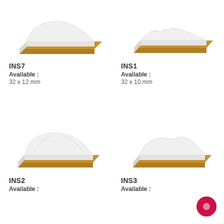[Figure (illustration): INS7 moulding profile – white coated MDF piece with golden/oak colored cross-section, simple curved top profile]
INS7
Available :
32 x 12 mm
[Figure (illustration): INS1 moulding profile – white coated MDF piece with golden/oak colored cross-section, multi-step ornate profile]
INS1
Available :
32 x 10 mm
[Figure (illustration): INS2 moulding profile – white coated MDF piece with golden/oak colored cross-section, rounded double-step profile]
INS2
Available :
[Figure (illustration): INS3 moulding profile – white coated MDF piece with golden/oak colored cross-section, smooth S-curve profile]
INS3
Available :